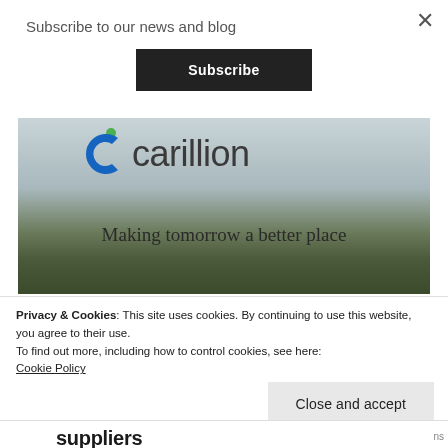Subscribe to our news and blog
×
Subscribe
[Figure (photo): Carillion company logo and tagline 'Making tomorrow a better place' against a blurred outdoor background with green foliage]
Privacy & Cookies: This site uses cookies. By continuing to use this website, you agree to their use.
To find out more, including how to control cookies, see here:
Cookie Policy
Close and accept
suppliers